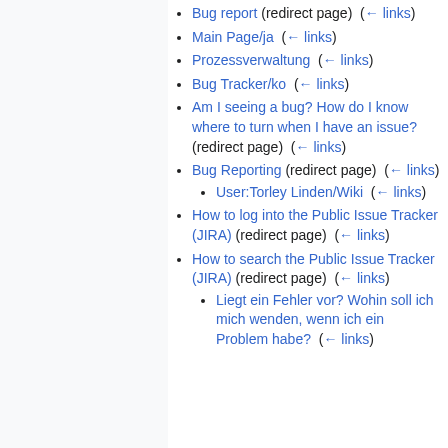Bug report (redirect page)  (← links)
Main Page/ja  (← links)
Prozessverwaltung  (← links)
Bug Tracker/ko  (← links)
Am I seeing a bug? How do I know where to turn when I have an issue? (redirect page)  (← links)
Bug Reporting (redirect page)  (← links)
User:Torley Linden/Wiki  (← links)
How to log into the Public Issue Tracker (JIRA) (redirect page)  (← links)
How to search the Public Issue Tracker (JIRA) (redirect page)  (← links)
Liegt ein Fehler vor? Wohin soll ich mich wenden, wenn ich ein Problem habe?  (← links)